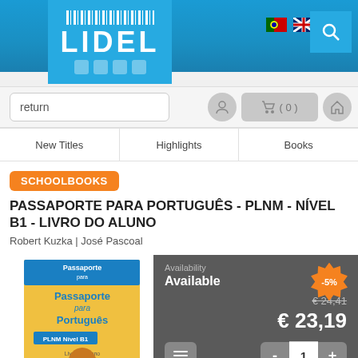[Figure (logo): LIDEL logo with barcode graphic on blue background]
[Figure (screenshot): Navigation icons: Portuguese flag, UK flag, search icon]
return
[Figure (infographic): User icon, cart icon with (0), home icon]
New Titles
Highlights
Books
SCHOOLBOOKS
PASSAPORTE PARA PORTUGUÊS - PLNM - NÍVEL B1 - LIVRO DO ALUNO
Robert Kuzka | José Pascoal
[Figure (photo): Book cover: Passaporte para Português PLNM Nível B1 Livro do Aluno]
Availability
Available
-5%
€ 24,41
€ 23,19
1